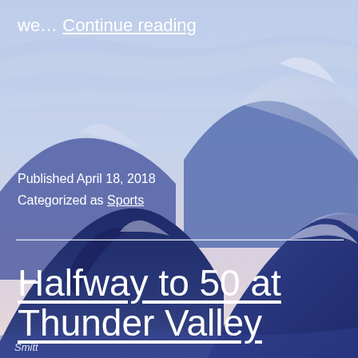[Figure (illustration): Painted mountain landscape in blue and purple tones with a pale sky, serving as full-page background image. Mountains fill the lower half; sky occupies the upper portion.]
we… Continue reading
Published April 18, 2018
Categorized as Sports
Halfway to 50 at Thunder Valley